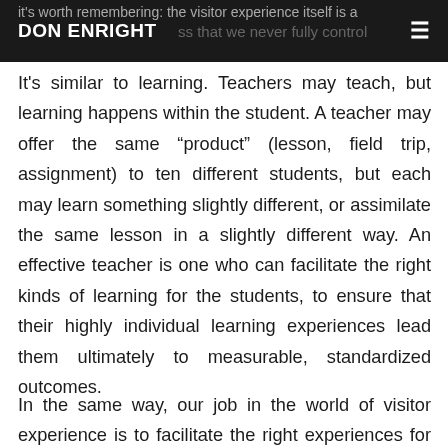DON ENRIGHT
it's worth remembering: the visitor experience itself is a process that we never fully control
It's similar to learning. Teachers may teach, but learning happens within the student. A teacher may offer the same “product” (lesson, field trip, assignment) to ten different students, but each may learn something slightly different, or assimilate the same lesson in a slightly different way. An effective teacher is one who can facilitate the right kinds of learning for the students, to ensure that their highly individual learning experiences lead them ultimately to measurable, standardized outcomes.
In the same way, our job in the world of visitor experience is to facilitate the right experiences for our